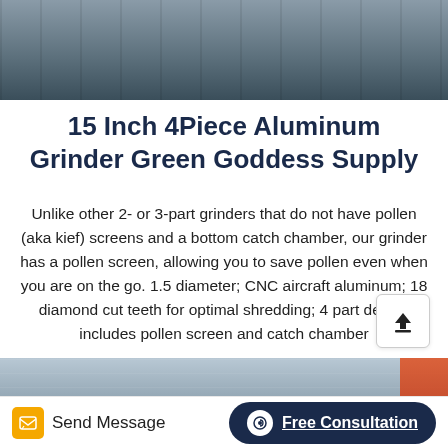[Figure (photo): Top photo showing industrial/warehouse equipment, partially visible, dark tones]
15 Inch 4Piece Aluminum Grinder Green Goddess Supply
Unlike other 2- or 3-part grinders that do not have pollen (aka kief) screens and a bottom catch chamber, our grinder has a pollen screen, allowing you to save pollen even when you are on the go. 1.5 diameter; CNC aircraft aluminum; 18 diamond cut teeth for optimal shredding; 4 part design includes pollen screen and catch chamber
[Figure (photo): Bottom photo showing industrial building exterior with metal siding and red structural elements]
Send Message   Free Consultation